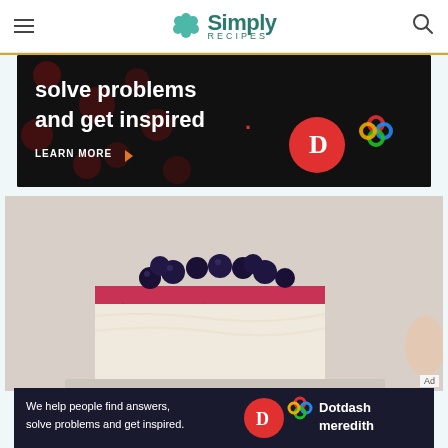Simply Recipes
[Figure (screenshot): Advertisement banner with dark background showing dotted pattern, text 'solve problems and get inspired.' with LEARN MORE button, Dotdash D logo and colorful knot logo]
[Figure (photo): Close-up photo of a slice of cheesecake topped with fresh blueberries and red berry sauce/coulis drizzled over the sides]
[Figure (screenshot): Bottom advertisement banner: 'We help people find answers, solve problems and get inspired.' with Dotdash Meredith logo]